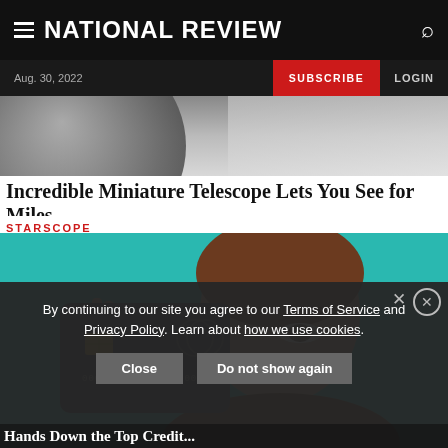NATIONAL REVIEW
Aug. 30, 2022 | SUBSCRIBE | LOGIN
[Figure (photo): Partial image of a miniature telescope in grayscale]
Incredible Miniature Telescope Lets You See for Miles
STARSCOPE
[Figure (photo): Woman holding a dark credit card up near her eye against a teal background]
By continuing to our site you agree to our Terms of Service and Privacy Policy. Learn about how we use cookies.
Close   Do not show again
Hands Down the Top Credit...